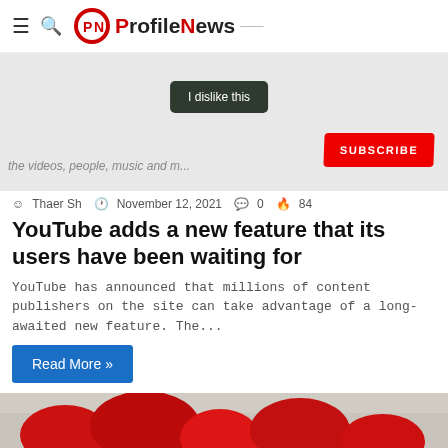ProfileNews
[Figure (photo): YouTube interface screenshot showing 'I dislike this' button and a red SUBSCRIBE button, with text 'the videos, people, music and m...']
Thaer Sh  November 12, 2021  0  84
YouTube adds a new feature that its users have been waiting for
YouTube has announced that millions of content publishers on the site can take advantage of a long-awaited new feature. The...
Read More »
[Figure (photo): Partial image showing red rounded shapes on a gray/concrete background]